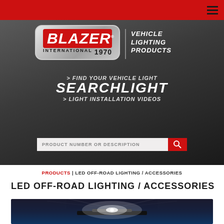Blazer International — navigation bar with hamburger menu
[Figure (logo): Blazer International Vehicle Lighting Products logo with silver badge, red BLAZER text, INTERNATIONAL 1970 below, and VEHICLE LIGHTING PRODUCTS text to the right]
> FIND YOUR VEHICLE LIGHT
SEARCHLIGHT
> LIGHT INSTALLATION VIDEOS
PRODUCT NUMBER OR DESCRIPTION
PRODUCTS | LED OFF-ROAD LIGHTING / ACCESSORIES
LED OFF-ROAD LIGHTING / ACCESSORIES
[Figure (photo): Dark background product photo showing LED off-road light bar with bright white light beam effect]